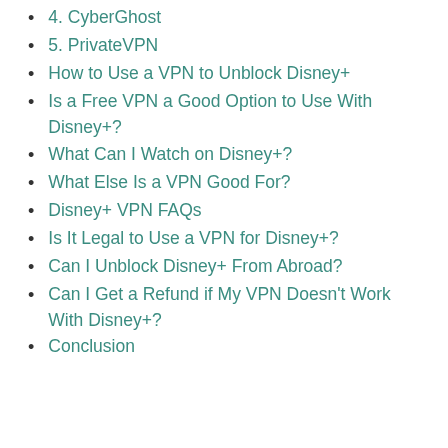4. CyberGhost
5. PrivateVPN
How to Use a VPN to Unblock Disney+
Is a Free VPN a Good Option to Use With Disney+?
What Can I Watch on Disney+?
What Else Is a VPN Good For?
Disney+ VPN FAQs
Is It Legal to Use a VPN for Disney+?
Can I Unblock Disney+ From Abroad?
Can I Get a Refund if My VPN Doesn't Work With Disney+?
Conclusion